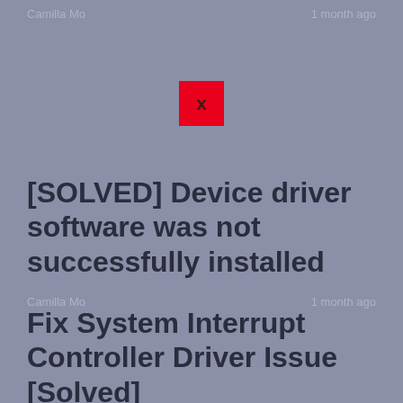Camilla Mo   1 month ago
[Figure (other): Broken image placeholder — red square with an X]
[SOLVED] Device driver software was not successfully installed
Camilla Mo   1 month ago
Fix System Interrupt Controller Driver Issue [Solved]
April Cai   1 month ago